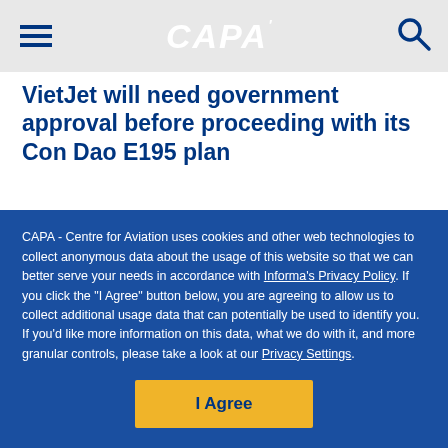CAPA
pavement grade issues which preclude an E195 from taking off with a full load of fuel and passengers.
VietJet will need government approval before proceeding with its Con Dao E195 plan
CAPA - Centre for Aviation uses cookies and other web technologies to collect anonymous data about the usage of this website so that we can better serve your needs in accordance with Informa's Privacy Policy. If you click the "I Agree" button below, you are agreeing to allow us to collect additional usage data that can potentially be used to identify you. If you'd like more information on this data, what we do with it, and more granular controls, please take a look at our Privacy Settings.
I Agree